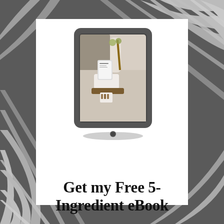[Figure (photo): Dark background with palm leaf shadows in black and white, with a white rectangle card overlaid in the center containing a tablet mockup image showing a kitchen scene with a recipe displayed on a tablet propped on a wooden stand, surrounded by kitchen items like wooden spoons, limes, and a glass carafe.]
Get my Free 5-Ingredient eBook